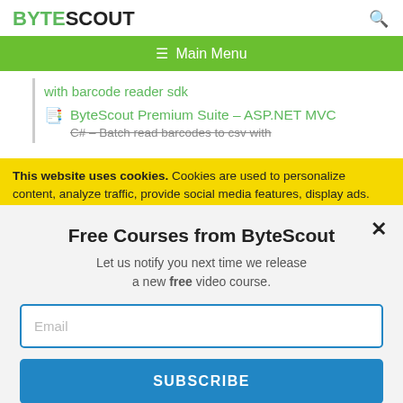BYTESCOUT
≡  Main Menu
with barcode reader sdk
ByteScout Premium Suite – ASP.NET MVC C# – Batch read barcodes to csv with
This website uses cookies. Cookies are used to personalize content, analyze traffic, provide social media features, display ads. We also share
Free Courses from ByteScout
Let us notify you next time we release a new free video course.
Email
SUBSCRIBE